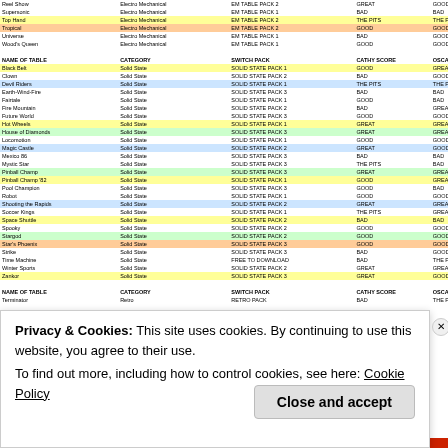| NAME OF TABLE | CATEGORY | SWITCH PACK | CATHY SCORE | OSCAR SCORE | ANGELA SCORE | JORDI SCORE | BALA SCORE | CERTIF |
| --- | --- | --- | --- | --- | --- | --- | --- | --- |
| Reel Show | Electro Mechanical | EM TABLE PACK 2 | GREAT | GOOD | GOOD | GOOD | GOOD | CLEAN S |
| Supersonic | Electro Mechanical | EM TABLE PACK 1 | BAD | BAD | BAD | BAD | GOOD |  |
| Top Hand | Electro Mechanical | EM TABLE PACK 2 | THE PITS | THE PITS | THE PITS | BAD | THE PITS | CERTIF |
| Tropical | Electro Mechanical | EM TABLE PACK 2 | GOOD | GOOD | GREAT | GOOD | GREAT | CLEAN S |
| Universe | Electro Mechanical | EM TABLE PACK 1 | BAD | GOOD | GREAT | GOOD | GOOD |  |
| Wood's Queen | Electro Mechanical | EM TABLE PACK 1 | GOOD | GOOD | BAD | GOOD | GOOD |  |
| NAME OF TABLE | CATEGORY | SWITCH PACK | CATHY SCORE | OSCAR SCORE | ANGELA SCORE | JORDI SCORE | BALA SCORE | CERTIF |
| --- | --- | --- | --- | --- | --- | --- | --- | --- |
| Black Belt | Solid State | SOLID STATE PACK 1 | GOOD | GREAT | GREAT | GOOD | GREAT | CERTIFIE |
| Clown | Solid State | SOLID STATE PACK 2 | BAD | GOOD | BAD | GOOD | BAD |  |
| Devil Riders | Solid State | SOLID STATE PACK 1 | THE PITS | THE PITS | THE PITS | THE PITS | THE PITS | CERTIFIE |
| Earth-Wind-Fire | Solid State | SOLID STATE PACK 3 | BAD | BAD | GOOD | THE PITS | BAD |  |
| Fairtale | Solid State | SOLID STATE PACK 1 | GOOD | BAD | BAD | BAD | GOOD |  |
| Fire Mountain | Solid State | SOLID STATE PACK 2 | BAD | GREAT | BAD | GOOD | GOOD |  |
| Future World | Solid State | SOLID STATE PACK 3 | GOOD | GOOD | GREAT | GOOD | BAD |  |
| Hot Wheels | Solid State | SOLID STATE PACK 1 | GREAT | GREAT | GREAT | GREAT | GOOD | CERTIFIE |
| House of Diamonds | Solid State | SOLID STATE PACK 3 | GREAT | GREAT | GREAT | GOOD | GREAT | CERTIFIE |
| Locomotion | Solid State | SOLID STATE PACK 1 | GOOD | GOOD | GOOD | GOOD | GOOD | CLEAN S |
| Magic Castle | Solid State | SOLID STATE PACK 2 | GREAT | GOOD | GREAT | GOOD | MASTERPIECE | CERTIFIE |
| Mexico 86 | Solid State | SOLID STATE PACK 3 | BAD | BAD | GOOD | BAD | THE PITS |  |
| Mystic Star | Solid State | SOLID STATE PACK 3 | THE PITS | BAD | BAD | GREAT | THE PITS | CERTIFIE |
| Pinball Champ | Solid State | SOLID STATE PACK 3 | GREAT | GREAT | GREAT | GREAT | GREAT | CERTIFIE |
| Pinball Champ '82 | Solid State | SOLID STATE PACK 1 | GOOD | GREAT | GOOD | GREAT | GOOD | CLEAN S |
| Pool Champion | Solid State | SOLID STATE PACK 3 | GOOD | BAD | GOOD | GOOD | BAD |  |
| Robot | Solid State | SOLID STATE PACK 1 | GOOD | GOOD | GOOD | GOOD | GOOD | CLEAN S |
| Shooting the Rapids | Solid State | SOLID STATE PACK 2 | GREAT | GREAT | GREAT | BAD | GREAT | CERTIFIE |
| Soccer Kings | Solid State | SOLID STATE PACK 1 | THE PITS | GREAT | BAD | GREAT | GREAT |  |
| Space Shuttle | Solid State | SOLID STATE PACK 2 | BAD | BAD | THE PITS | GOOD | THE PITS | CERTIFIE |
| Spooky | Solid State | SOLID STATE PACK 2 | GOOD | GOOD | GREAT | GREAT | BAD |  |
| Stargod | Solid State | SOLID STATE PACK 2 | GOOD | GOOD | GOOD | GOOD | GOOD | CLEAN S |
| Star's Phoenix | Solid State | SOLID STATE PACK 3 | GOOD | GOOD | GOOD | GOOD | GOOD | CLEAN S |
| Strike | Solid State | SOLID STATE PACK 3 | BAD | GOOD | BAD | BAD | BAD |  |
| Time Machine | Solid State | FREE TO DOWNLOAD | BAD | THE PITS | BAD | GOOD | BAD |  |
| Winter Sports | Solid State | SOLID STATE PACK 2 | GREAT | GREAT | GOOD | BAD | GOOD |  |
| Zankor | Solid State | SOLID STATE PACK 3 | GREAT | GOOD | MASTERPIECE | GOOD | GREAT | CERTIFIE |
| NAME OF TABLE | CATEGORY | SWITCH PACK | CATHY SCORE | OSCAR SCORE | ANGELA SCORE | JORDI SCORE | BALA SCORE | CERTIF |
| --- | --- | --- | --- | --- | --- | --- | --- | --- |
| Terminator | Retro | RETRO PACK | BAD | THE PITS | THE PITS | BAD | THE PITS | RTIFIE |
Privacy & Cookies: This site uses cookies. By continuing to use this website, you agree to their use.
To find out more, including how to control cookies, see here: Cookie Policy